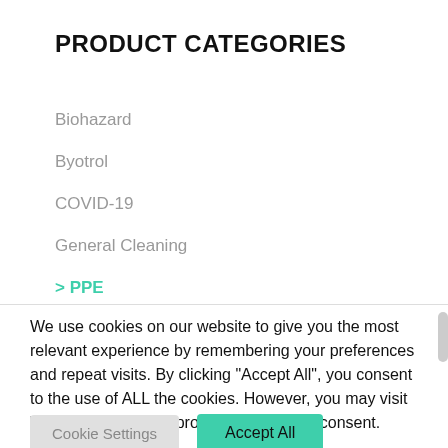PRODUCT CATEGORIES
Biohazard
Byotrol
COVID-19
General Cleaning
> PPE
We use cookies on our website to give you the most relevant experience by remembering your preferences and repeat visits. By clicking "Accept All", you consent to the use of ALL the cookies. However, you may visit "Cookie Settings" to provide a controlled consent.
Cookie Settings | Accept All